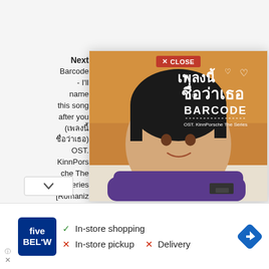Next Barcode - I'll name this song after you (เพลงนี้ชื่อว่าเธอ) OST. KinnPorsche The Series [Romanization Lyric + Eng]
[Figure (photo): Popup showing album art for 'เพลงนี้ชื่อว่าเธอ' (BARCODE, OST. KinnPorsche The Series) with a close button and a young man smiling, wearing a blue sweater, resting his head on his arms]
[Figure (infographic): Five Below store ad showing: In-store shopping (checkmark), In-store pickup X, Delivery X, with Five Below logo and navigation arrow icon]